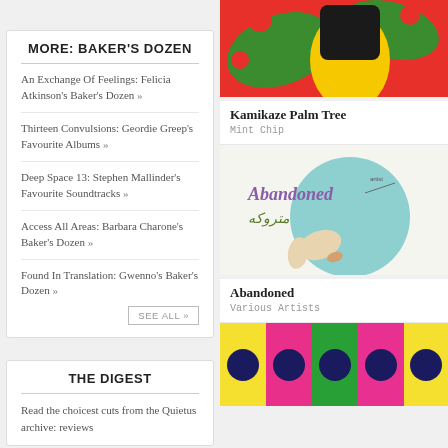MORE: BAKER'S DOZEN
An Exchange Of Feelings: Felicia Atkinson's Baker's Dozen »
Thirteen Convulsions: Geordie Greep's Favourite Albums »
Deep Space 13: Stephen Mallinder's Favourite Soundtracks »
Access All Areas: Barbara Charone's Baker's Dozen »
Found In Translation: Gwenno's Baker's Dozen »
SEE ALL »
[Figure (photo): Colorful abstract album artwork with red, green, black, yellow tones — Kamikaze Palm Tree]
Kamikaze Palm Tree
Mint Chip
[Figure (photo): Album cover for 'Abandoned' with Persian script متروکه, light blue circle and abstract shapes]
Abandoned
Various Artists
THE DIGEST
Read the choicest cuts from the Quietus archive: reviews
[Figure (photo): Colorful polka dot album artwork with yellow, pink, green, magenta and navy dots]